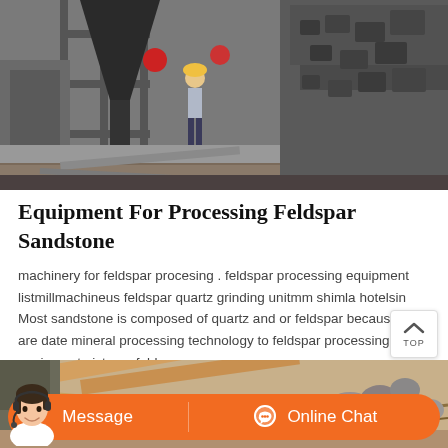[Figure (photo): Construction/mining site with a worker in a hard hat standing among heavy equipment, metal scaffolding, and crushed rock/stone piles]
Equipment For Processing Feldspar Sandstone
machinery for feldspar procesing . feldspar processing equipment listmillmachineus feldspar quartz grinding unitmm shimla hotelsin Most sandstone is composed of quartz and or feldspar because thes are date mineral processing technology to feldspar processing equipment pictures feldspar
[Figure (photo): Outdoor scene showing wooden planks, ropes, and stones/gravel, appearing to be a quarry or mining processing area]